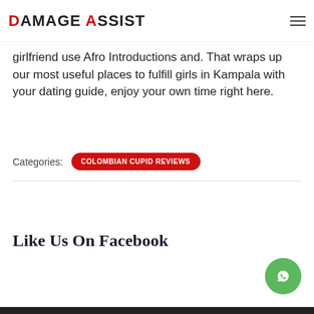DAMAGE ASSIST
girlfriend use Afro Introductions and. That wraps up our most useful places to fulfill girls in Kampala with your dating guide, enjoy your own time right here.
Categories: COLOMBIAN CUPID REVIEWS
Like Us On Facebook